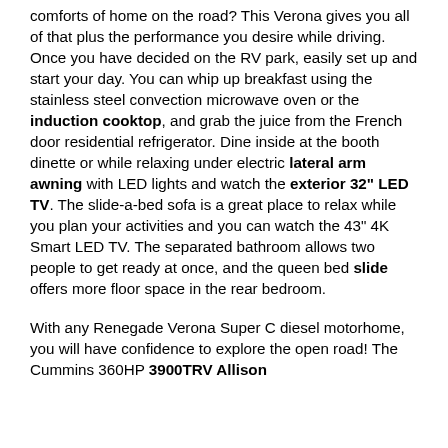comforts of home on the road? This Verona gives you all of that plus the performance you desire while driving. Once you have decided on the RV park, easily set up and start your day. You can whip up breakfast using the stainless steel convection microwave oven or the induction cooktop, and grab the juice from the French door residential refrigerator. Dine inside at the booth dinette or while relaxing under electric lateral arm awning with LED lights and watch the exterior 32" LED TV. The slide-a-bed sofa is a great place to relax while you plan your activities and you can watch the 43" 4K Smart LED TV. The separated bathroom allows two people to get ready at once, and the queen bed slide offers more floor space in the rear bedroom.
With any Renegade Verona Super C diesel motorhome, you will have confidence to explore the open road! The Cummins 360HP 3900TRV Allison